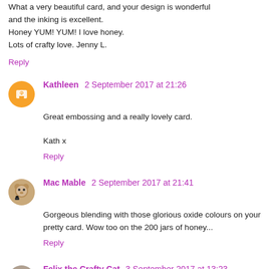What a very beautiful card, and your design is wonderful and the inking is excellent.
Honey YUM! YUM! I love honey.
Lots of crafty love. Jenny L.
Reply
Kathleen 2 September 2017 at 21:26
Great embossing and a really lovely card.

Kath x
Reply
Mac Mable 2 September 2017 at 21:41
Gorgeous blending with those glorious oxide colours on your pretty card. Wow too on the 200 jars of honey...
Reply
Felix the Crafty Cat 3 September 2017 at 13:23